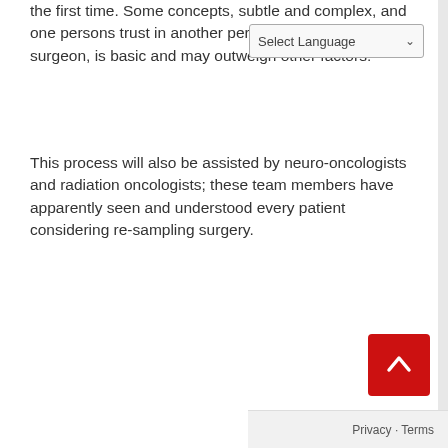the first time. Some concepts, such as re-sampling, are subtle and complex, and one persons trust in another person, such as their surgeon, is basic and may outweigh other factors.
This process will also be assisted by neuro-oncologists and radiation oncologists; these team members have apparently seen and understood every patient considering re-sampling surgery.